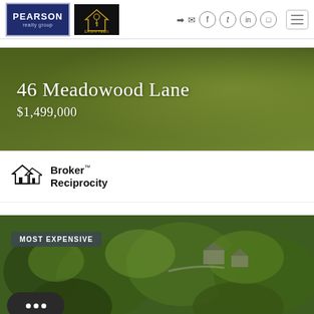[Figure (logo): Pearson Realty Group logo (dark blue background, white text) and Ersin Teen logo (black background with gold key icon)]
46 Meadowood Lane
$1,499,000
[Figure (logo): Broker Reciprocity logo with house icon]
Broker™ Reciprocity
[Figure (photo): Aerial photo of a suburban neighborhood with green tree canopy and houses visible, labeled MOST EXPENSIVE]